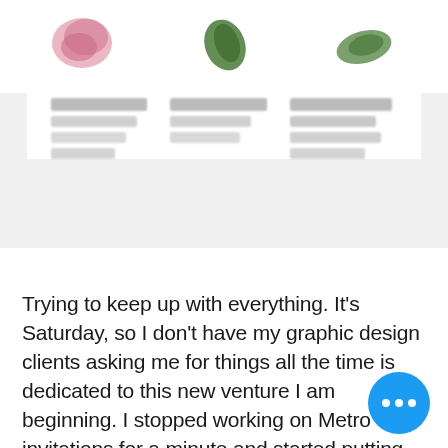[Figure (screenshot): Blurred screenshot of a product or blog page showing three columns of images (flowers/leaves) with blurred text labels and descriptions below them.]
Trying to keep up with everything. It’s Saturday, so I don’t have my graphic design clients asking me for things all the time is dedicated to this new venture I am beginning. I stopped working on Metro invitations for a minute and started putting the new and improved Metro-events shop together which is where this post is going. Realizing I needed to get that site away from Storenvy sooner rather than later because all of my websites are going to tie in together, the umbrella of the